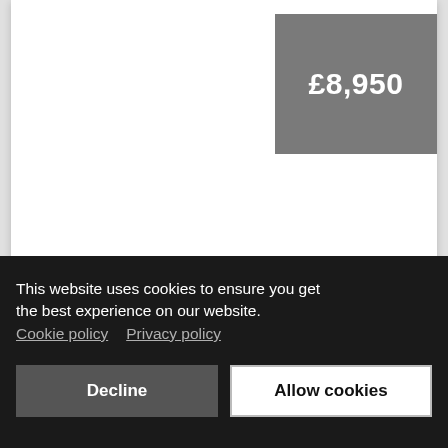£8,950
This website uses cookies to ensure you get the best experience on our website. Cookie policy  Privacy policy
Decline
Allow cookies